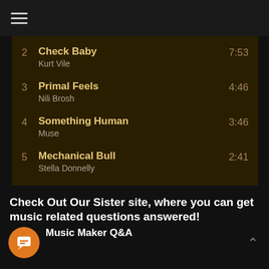[Figure (screenshot): Hamburger menu icon (three horizontal lines) in top navigation bar]
2  Check Baby  7:53
Kurt Vile
3  Primal Feels  4:46
Nili Brosh
4  Something Human  3:46
Muse
5  Mechanical Bull  2:41
Stella Donnelly
6  Here Comes The Sun - Remas...  3:05
The Beatles
Check Out Our Sister site, where you can get music related questions answered!
Music Maker Q&A